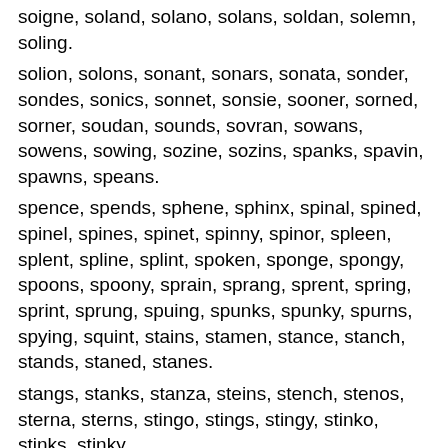soigne, soland, solano, solans, soldan, solemn, soling.
solion, solons, sonant, sonars, sonata, sonder, sondes, sonics, sonnet, sonsie, sooner, sorned, sorner, soudan, sounds, sovran, sowans, sowens, sowing, sozine, sozins, spanks, spavin, spawns, speans.
spence, spends, sphene, sphinx, spinal, spined, spinel, spines, spinet, spinny, spinor, spleen, splent, spline, splint, spoken, sponge, spongy, spoons, spoony, sprain, sprang, sprent, spring, sprint, sprung, spuing, spunks, spunky, spurns, spying, squint, stains, stamen, stance, stanch, stands, staned, stanes.
stangs, stanks, stanza, steins, stench, stenos, sterna, sterns, stingo, stings, stingy, stinko, stinks, stinky,